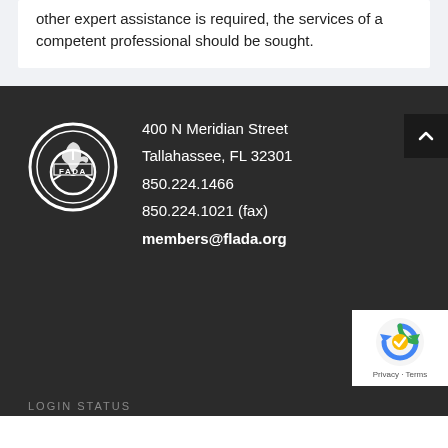other expert assistance is required, the services of a competent professional should be sought.
400 N Meridian Street
Tallahassee, FL 32301
850.224.1466
850.224.1021 (fax)
members@flada.org
[Figure (logo): FADA circular logo with stylized map of Florida and steering wheel]
LOGIN STATUS